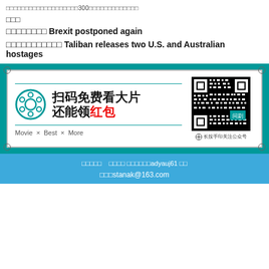□□□□□□□□□□□□□□□□□□□300□□□□□□□□□□□□□
□□□
□□□□□□□□ Brexit postponed again
□□□□□□□□□□□ Taliban releases two U.S. and Australian hostages
[Figure (illustration): Advertisement banner with teal background, white inner box with corner circles. Contains film reel icon, Chinese text '扫码免费看大片 还能领红包' (Scan code to watch movies for free, also get red envelopes), teal horizontal lines, tags 'Movie × Best × More', a QR code on the right with '问剧' label, and '长按手印关注公众号' caption.]
□□□□□    □□□□ □□□□□□adyauj61 □□    □□□stanak@163.com